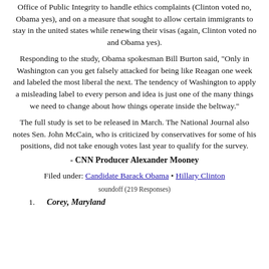Office of Public Integrity to handle ethics complaints (Clinton voted no, Obama yes), and on a measure that sought to allow certain immigrants to stay in the united states while renewing their visas (again, Clinton voted no and Obama yes).
Responding to the study, Obama spokesman Bill Burton said, "Only in Washington can you get falsely attacked for being like Reagan one week and labeled the most liberal the next. The tendency of Washington to apply a misleading label to every person and idea is just one of the many things we need to change about how things operate inside the beltway."
The full study is set to be released in March. The National Journal also notes Sen. John McCain, who is criticized by conservatives for some of his positions, did not take enough votes last year to qualify for the survey.
- CNN Producer Alexander Mooney
Filed under: Candidate Barack Obama • Hillary Clinton
soundoff (219 Responses)
1. Corey, Maryland